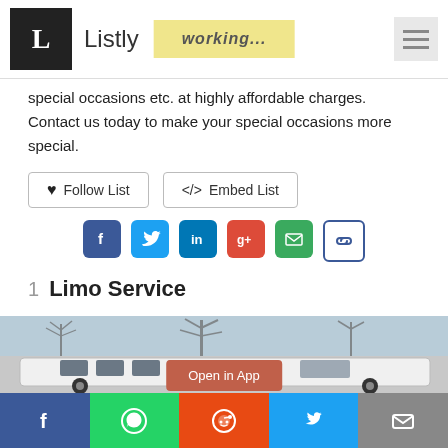Listly | working...
special occasions etc. at highly affordable charges. Contact us today to make your special occasions more special.
Follow List   </> Embed List
[Figure (screenshot): Social sharing icons: Facebook, Twitter, LinkedIn, Google+, Email, Link]
1  Limo Service
[Figure (photo): A white stretch limousine parked outdoors with bare trees in the background. An orange 'Open in App' button overlays the image.]
Facebook | WhatsApp | Reddit | Twitter | Email share bar